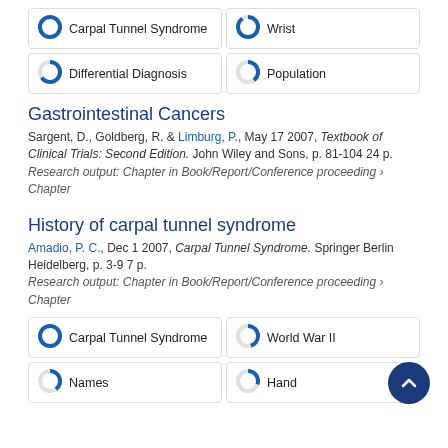[Figure (infographic): Four keyword boxes with donut chart icons showing percentage fill: Carpal Tunnel Syndrome ~100%, Wrist ~90%, Differential Diagnosis ~65%, Population ~40%]
Gastrointestinal Cancers
Sargent, D., Goldberg, R. & Limburg, P., May 17 2007, Textbook of Clinical Trials: Second Edition. John Wiley and Sons, p. 81-104 24 p.
Research output: Chapter in Book/Report/Conference proceeding › Chapter
History of carpal tunnel syndrome
Amadio, P. C., Dec 1 2007, Carpal Tunnel Syndrome. Springer Berlin Heidelberg, p. 3-9 7 p.
Research output: Chapter in Book/Report/Conference proceeding › Chapter
[Figure (infographic): Four keyword boxes with donut chart icons: Carpal Tunnel Syndrome ~100%, World War II ~45%, Names ~40%, Hand ~30%]